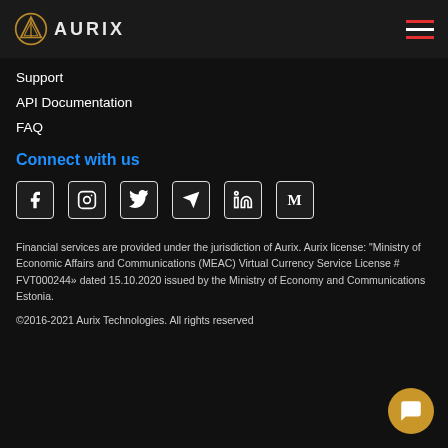AURIX
Support
API Documentation
FAQ
Connect with us
[Figure (infographic): Row of social media icons: Facebook, Instagram, Twitter, Telegram, LinkedIn, Medium]
Financial services are provided under the jurisdiction of Aurix. Aurix license: "Ministry of Economic Affairs and Communications (MEAC) Virtual Currency Service License # FVT000244» dated 15.10.2020 issued by the Ministry of Economy and Communications Estonia.
©2016-2021 Aurix Technologies. All rights reserved